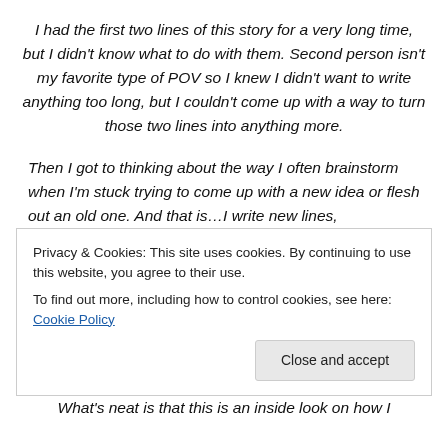I had the first two lines of this story for a very long time, but I didn't know what to do with them. Second person isn't my favorite type of POV so I knew I didn't want to write anything too long, but I couldn't come up with a way to turn those two lines into anything more.
Then I got to thinking about the way I often brainstorm when I'm stuck trying to come up with a new idea or flesh out an old one. And that is…I write new lines, continuously starting over until I finally pick up the right track and can
Privacy & Cookies: This site uses cookies. By continuing to use this website, you agree to their use.
To find out more, including how to control cookies, see here: Cookie Policy
Close and accept
What's neat is that this is an inside look on how I